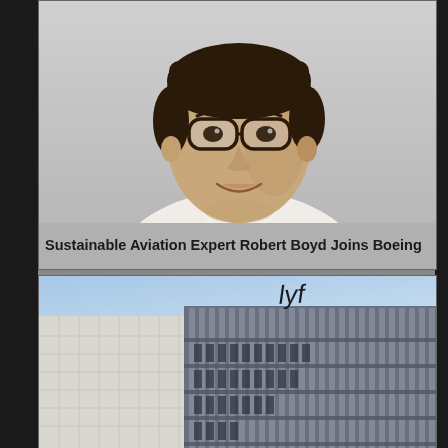[Figure (photo): Headshot of a man wearing glasses, white shirt, and pink tie, smiling at the camera. Professional portrait photo.]
Sustainable Aviation Expert Robert Boyd Joins Boeing
[Figure (photo): Exterior photo of a modern multi-story building with vertical metal louvers/slats, featuring a stylized 'lyf' logo/sign on the rooftop against a blue sky.]